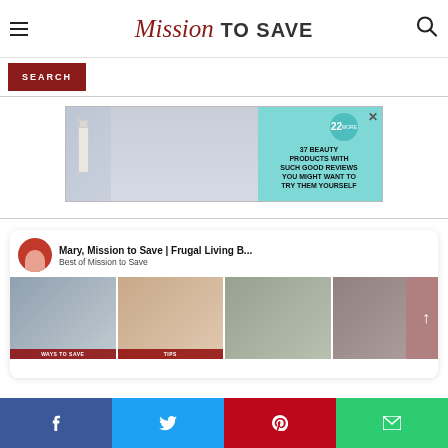Mission TO SAVE
SEARCH
[Figure (screenshot): Advertisement banner: beauty products ad with teal background showing '37 BEAUTY PRODUCTS WITH SUCH GOOD REVIEWS YOU MIGHT WANT TO TRY THEM YOURSELF' and a badge showing 22]
Mary, Mission to Save | Frugal Living B...
Best of Mission to Save
[Figure (photo): Card with four thumbnail images: 'WAYS TO SAVE', 'TIPS', a craft/yarn photo, and a holiday gift bag]
Facebook share | Twitter share | Pinterest share | Email share